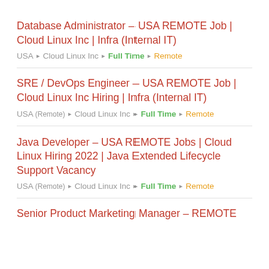Database Administrator – USA REMOTE Job | Cloud Linux Inc | Infra (Internal IT)
USA ▸ Cloud Linux Inc ▸ Full Time ▸ Remote
SRE / DevOps Engineer – USA REMOTE Job | Cloud Linux Inc Hiring | Infra (Internal IT)
USA (Remote) ▸ Cloud Linux Inc ▸ Full Time ▸ Remote
Java Developer – USA REMOTE Jobs | Cloud Linux Hiring 2022 | Java Extended Lifecycle Support Vacancy
USA (Remote) ▸ Cloud Linux Inc ▸ Full Time ▸ Remote
Senior Product Marketing Manager – REMOTE